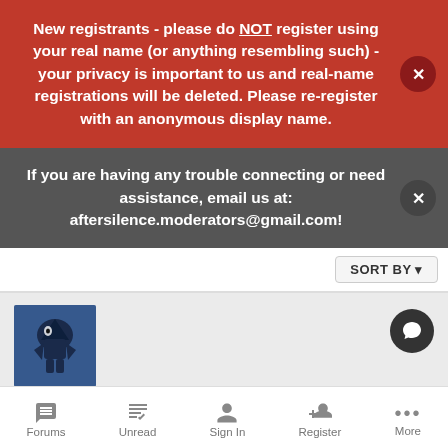New registrants - please do NOT register using your real name (or anything resembling such) - your privacy is important to us and real-name registrations will be deleted. Please re-register with an anonymous display name.
If you are having any trouble connecting or need assistance, email us at: aftersilence.moderators@gmail.com!
SORT BY
[Figure (photo): Avatar image of user yusesya, showing a dark figure with blue tones]
This is much better than Reddit
yusesya posted a topic in Public: Welcome!
Forums   Unread   Sign In   Register   More